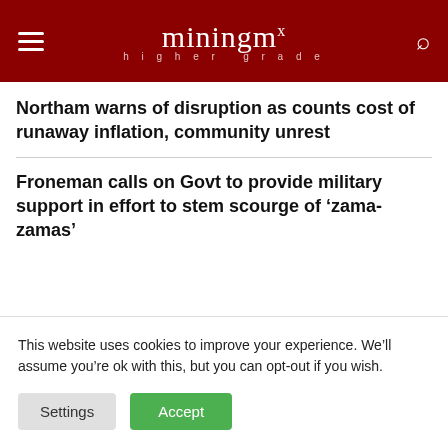miningmx higher grade
Northam warns of disruption as counts cost of runaway inflation, community unrest
Froneman calls on Govt to provide military support in effort to stem scourge of ‘zama-zamas’
This website uses cookies to improve your experience. We’ll assume you’re ok with this, but you can opt-out if you wish.